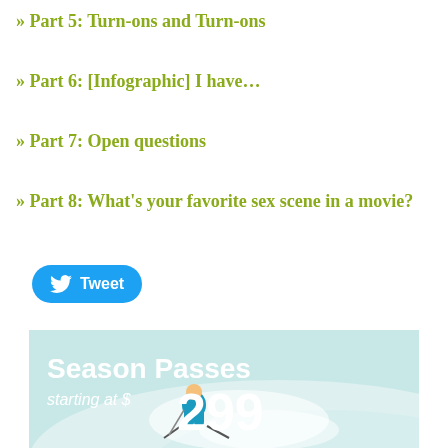» Part 5: Turn-ons and Turn-ons
» Part 6: [Infographic] I have…
» Part 7: Open questions
» Part 8: What's your favorite sex scene in a movie?
[Figure (illustration): Cartoon illustration of a man wearing an orange cap and dark sunglasses, with a scruffy beard, mouth open, comic book style]
[Figure (photo): Advertisement banner: 'Season Passes starting at $299' with a skier on a snowy slope in the background, teal/cyan color scheme]